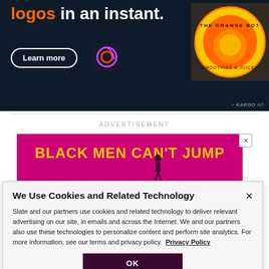[Figure (screenshot): Top dark navy banner ad showing 'logos in an instant.' with orange 'logos' text, a Learn more button, Adobe Creative Cloud icon, and orange logo circle on right with KARGO AD tag]
ADVERTISEMENT
[Figure (screenshot): Pink/magenta banner ad showing 'BLACK MEN CAN'T JUMP' in bold yellow Impact font with close X button]
We Use Cookies and Related Technology
Slate and our partners use cookies and related technology to deliver relevant advertising on our site, in emails and across the Internet. We and our partners also use these technologies to personalize content and perform site analytics. For more information, see our terms and privacy policy.  Privacy Policy
OK